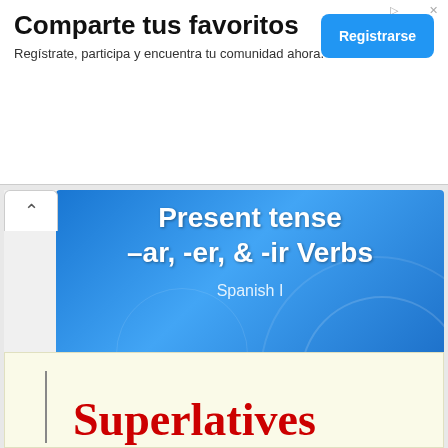Comparte tus favoritos
Regístrate, participa y encuentra tu comunidad ahora. Facebook®
[Figure (screenshot): Blue gradient presentation slide showing title 'Present tense –ar, -er, & -ir Verbs' and subtitle 'Spanish I' with decorative circular patterns]
Superlatives